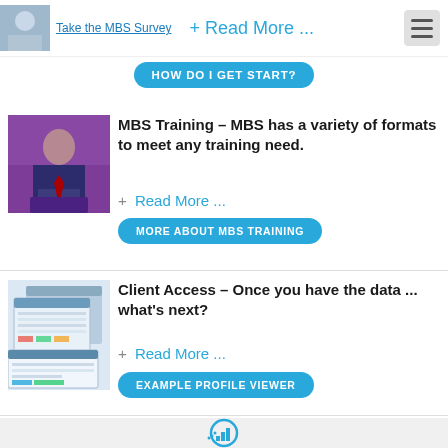Take the MBS Survey   + Read More ...
HOW DO I GET START?
[Figure (photo): Person speaking at a podium with purple background]
MBS Training – MBS has a variety of formats to meet any training need.
+ Read More ...
MORE ABOUT MBS TRAINING
[Figure (screenshot): Screenshots of MBS client access software interface showing data tables and charts]
Client Access – Once you have the data ... what's next?
+ Read More ...
EXAMPLE PROFILE VIEWER
[Figure (illustration): Teal circle icon with bar chart graphic inside]